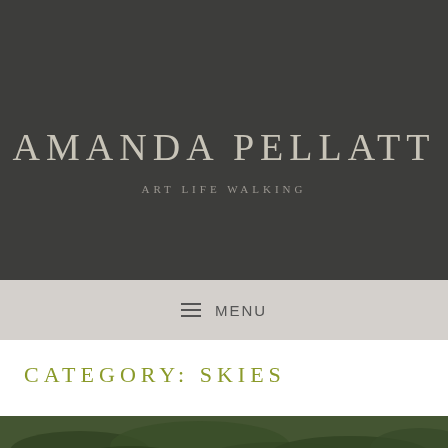AMANDA PELLATT
ART LIFE WALKING
≡ MENU
CATEGORY: SKIES
[Figure (photo): Partial view of a nature/landscape photograph showing green foliage at the bottom of the page]